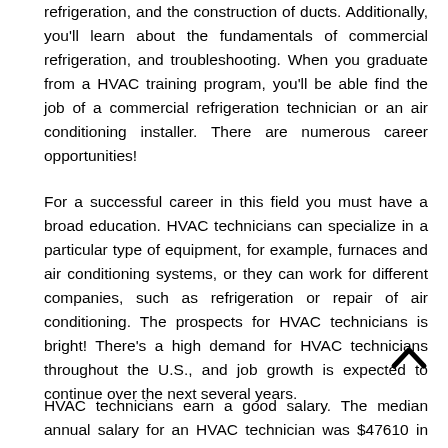HVAC training will cover the basic principles of electricity, refrigeration, and the construction of ducts. Additionally, you'll learn about the fundamentals of commercial refrigeration, and troubleshooting. When you graduate from a HVAC training program, you'll be able find the job of a commercial refrigeration technician or an air conditioning installer. There are numerous career opportunities!
For a successful career in this field you must have a broad education. HVAC technicians can specialize in a particular type of equipment, for example, furnaces and air conditioning systems, or they can work for different companies, such as refrigeration or repair of air conditioning. The prospects for HVAC technicians is bright! There's a high demand for HVAC technicians throughout the U.S., and job growth is expected to continue over the next several years.
HVAC technicians earn a good salary. The median annual salary for an HVAC technician was $47610 in May of 2018.